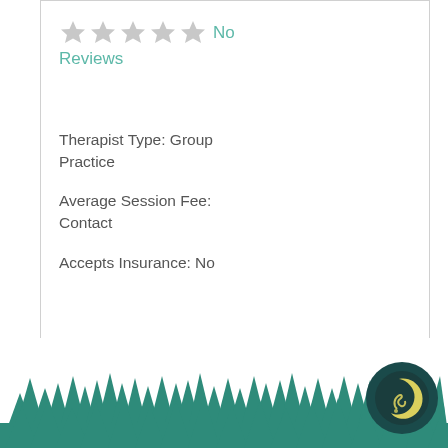[Figure (other): Five grey star rating icons followed by 'No Reviews' text in teal]
Therapist Type: Group Practice
Average Session Fee: Contact
Accepts Insurance: No
[Figure (illustration): Teal silhouette forest treeline at the bottom of the page with a dark teal circular logo containing a crescent moon and swirl design]